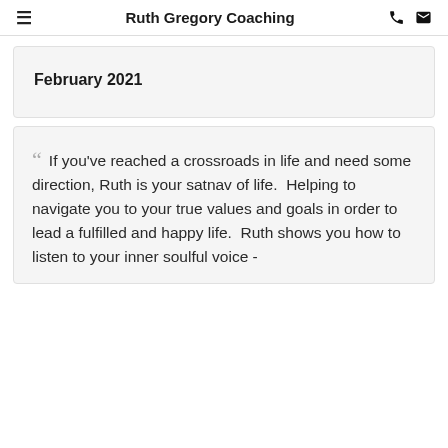Ruth Gregory Coaching
February 2021
““ If you've reached a crossroads in life and need some direction, Ruth is your satnav of life.  Helping to navigate you to your true values and goals in order to lead a fulfilled and happy life.  Ruth shows you how to listen to your inner soulful voice -